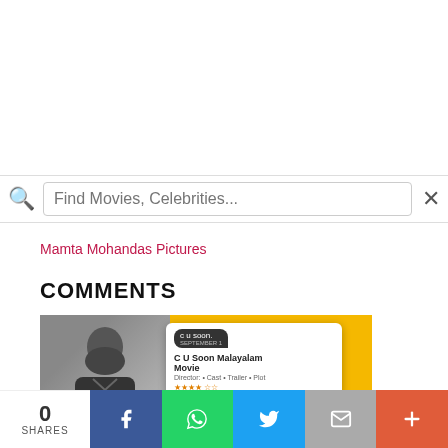[Figure (screenshot): Search bar with magnifying glass icon and placeholder text 'Find Movies, Celebrities...' with an X close button]
Mamta Mohandas Pictures
COMMENTS
[Figure (infographic): Advertisement banner showing a smartphone app screenshot for 'C U Soon Malayalam Movie' on a yellow background with a black 'Advertise here' bar and yellow strip at bottom]
[Figure (infographic): Bottom social share bar showing 0 SHARES count with Facebook, WhatsApp, Twitter, Email, and More share buttons]